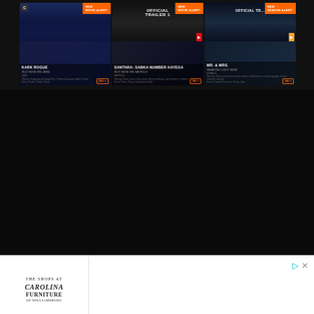[Figure (screenshot): Movie streaming website screenshot showing three movie/show cards: 'Kark Rogue - Out Now on ZEE5', 'Santara: Sabka Number Aayega - Out Now on Netflix' with Official Trailer 1, and 'Mr. & Mrs. - Season 2 Out Now' with Official Trailer on Disney+. Dark background with orange 'New' badges.]
[Figure (screenshot): Dark/black empty section of webpage background]
[Figure (screenshot): Advertisement banner for The Shops at Carolina Furniture of Williamsburg featuring a dresser/nightstand image and Tribeca brand with 'Learn more' call to action]